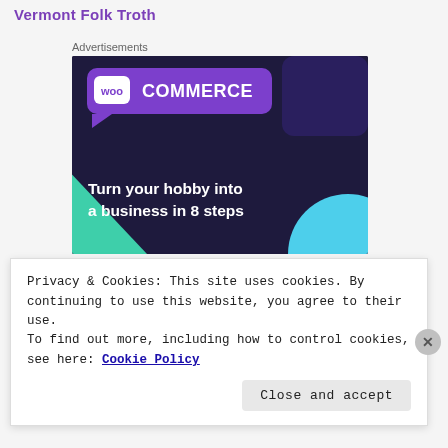Vermont Folk Troth
Advertisements
[Figure (advertisement): WooCommerce advertisement banner with dark navy/purple background, WooCommerce logo in speech bubble, green triangle and cyan circle shapes, text reading 'Turn your hobby into a business in 8 steps']
Privacy & Cookies: This site uses cookies. By continuing to use this website, you agree to their use.
To find out more, including how to control cookies, see here: Cookie Policy
Close and accept